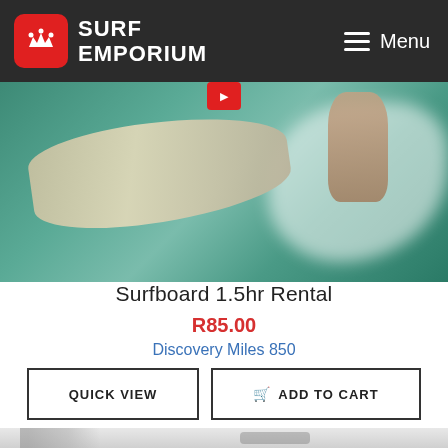SURF EMPORIUM  Menu
[Figure (photo): A surfer riding a wave on a surfboard, action shot with splashing water, viewed from above/behind showing the board and hand grip]
Surfboard 1.5hr Rental
R85.00
Discovery Miles 850
QUICK VIEW  ADD TO CART
[Figure (photo): Bottom portion of another product image, partially visible, showing a person standing near water]